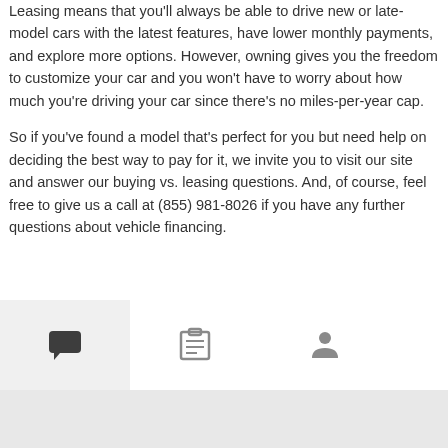Leasing means that you'll always be able to drive new or late-model cars with the latest features, have lower monthly payments, and explore more options. However, owning gives you the freedom to customize your car and you won't have to worry about how much you're driving your car since there's no miles-per-year cap.
So if you've found a model that's perfect for you but need help on deciding the best way to pay for it, we invite you to visit our site and answer our buying vs. leasing questions. And, of course, feel free to give us a call at (855) 981-8026 if you have any further questions about vehicle financing.
[Figure (other): Navigation bar with three icons: active chat bubble icon (highlighted with light grey background), a list/clipboard icon, and a person/profile icon]